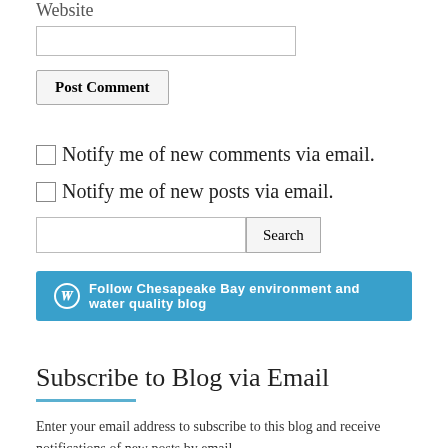Website
Post Comment
Notify me of new comments via email.
Notify me of new posts via email.
Search
Follow Chesapeake Bay environment and water quality blog
Subscribe to Blog via Email
Enter your email address to subscribe to this blog and receive notifications of new posts by email.
Email Address